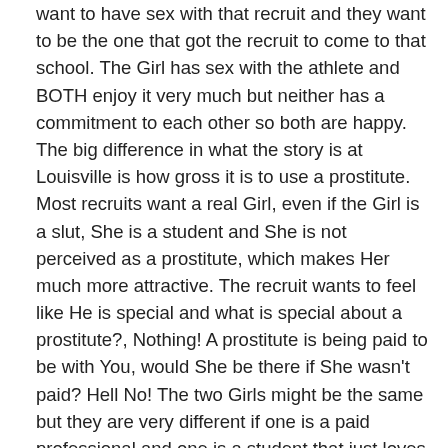want to have sex with that recruit and they want to be the one that got the recruit to come to that school. The Girl has sex with the athlete and BOTH enjoy it very much but neither has a commitment to each other so both are happy. The big difference in what the story is at Louisville is how gross it is to use a prostitute. Most recruits want a real Girl, even if the Girl is a slut, She is a student and She is not perceived as a prostitute, which makes Her much more attractive. The recruit wants to feel like He is special and what is special about a prostitute?, Nothing! A prostitute is being paid to be with You, would She be there if She wasn't paid? Hell No! The two Girls might be the same but they are very different if one is a paid professional and one is a student that just loves sex.

This goes on in business all over the World. If a buyer comes to town the seller wants to get Him laid and if He does He gets the deal. This has been going on in business for 100's